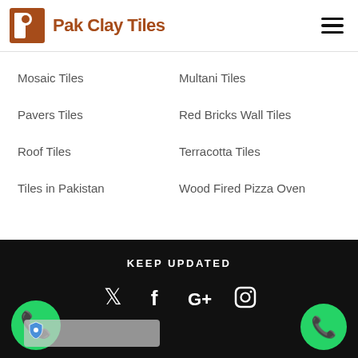Pak Clay Tiles
Mosaic Tiles
Multani Tiles
Pavers Tiles
Red Bricks Wall Tiles
Roof Tiles
Terracotta Tiles
Tiles in Pakistan
Wood Fired Pizza Oven
KEEP UPDATED